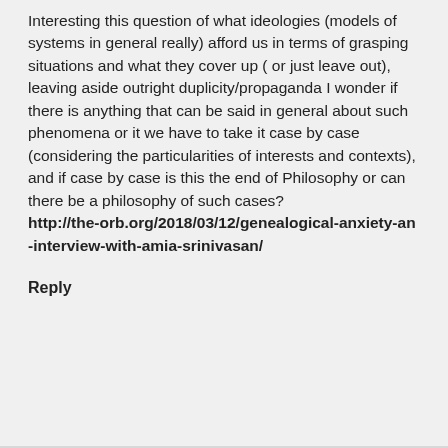Interesting this question of what ideologies (models of systems in general really) afford us in terms of grasping situations and what they cover up ( or just leave out), leaving aside outright duplicity/propaganda I wonder if there is anything that can be said in general about such phenomena or it we have to take it case by case (considering the particularities of interests and contexts), and if case by case is this the end of Philosophy or can there be a philosophy of such cases?
http://the-orb.org/2018/03/12/genealogical-anxiety-an-interview-with-amia-srinivasan/
Reply